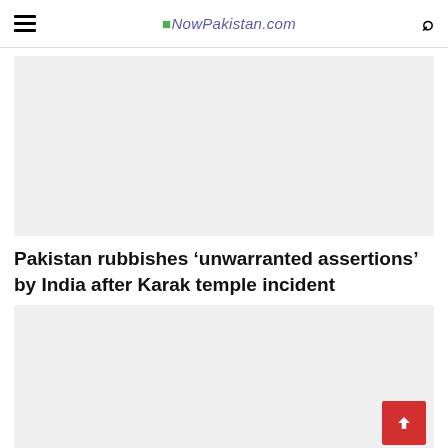NowPakistan.com
[Figure (other): Advertisement banner placeholder (light grey rectangle)]
Pakistan rubbishes ‘unwarranted assertions’ by India after Karak temple incident
[Figure (other): Advertisement banner placeholder (light grey rectangle) with red back-to-top button]